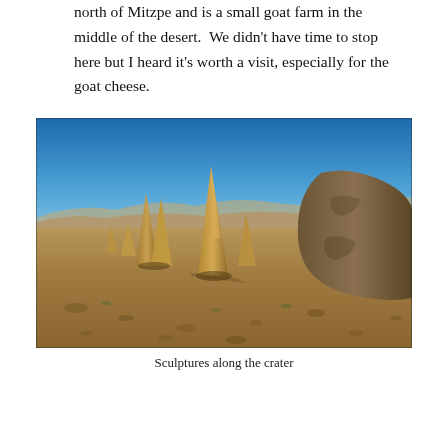north of Mitzpe and is a small goat farm in the middle of the desert.  We didn't have time to stop here but I heard it's worth a visit, especially for the goat cheese.
[Figure (photo): Photograph of large standing stone sculptures in a desert landscape under a bright blue sky. The stones are tall, angular, and leaning at various angles amid rocky, arid terrain with distant hills on the horizon.]
Sculptures along the crater